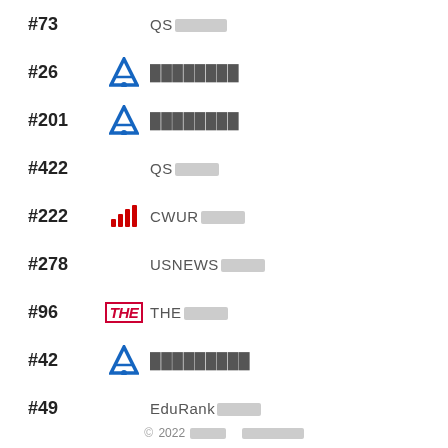#73  QS██████
#26  A-logo ████████
#201  A-logo ████████
#422  QS██████
#222  CWUR-bars CWUR██████
#278  USNEWS██████
#96  THE-logo THE██████
#42  A-logo █████████
#49  EduRank██████
© 2022 ████  █████████